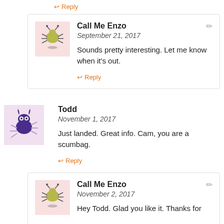↩ Reply
Call Me Enzo
September 21, 2017
Sounds pretty interesting. Let me know when it's out.
↩ Reply
Todd
November 1, 2017
Just landed. Great info. Cam, you are a scumbag.
↩ Reply
Call Me Enzo
November 2, 2017
Hey Todd. Glad you like it. Thanks for